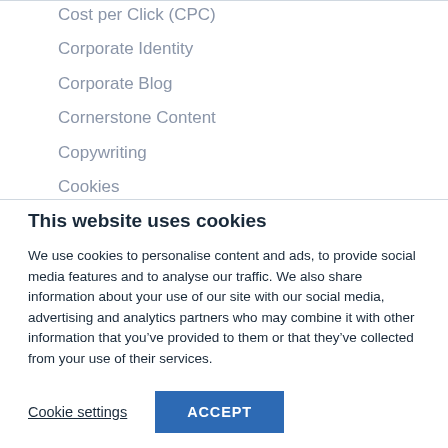Cost per Click (CPC)
Corporate Identity
Corporate Blog
Cornerstone Content
Copywriting
Cookies
This website uses cookies
We use cookies to personalise content and ads, to provide social media features and to analyse our traffic. We also share information about your use of our site with our social media, advertising and analytics partners who may combine it with other information that you’ve provided to them or that they’ve collected from your use of their services.
Cookie settings
ACCEPT